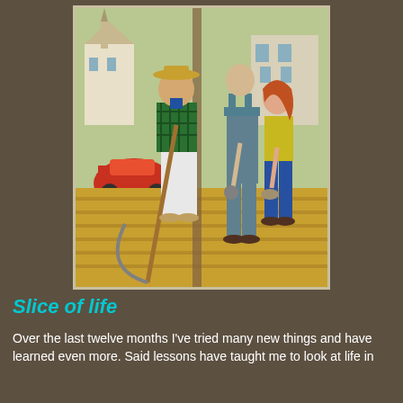[Figure (illustration): A colorful illustrated scene showing three people on a wooden porch or platform. A man in a green plaid shirt, yellow hat, and white pants holds a scythe. Two younger figures stand nearby — one in teal overalls and one in yellow top with blue jeans. In the background are buildings including a church steeple and a red car.]
Slice of life
Over the last twelve months I've tried many new things and have learned even more. Said lessons have taught me to look at life in